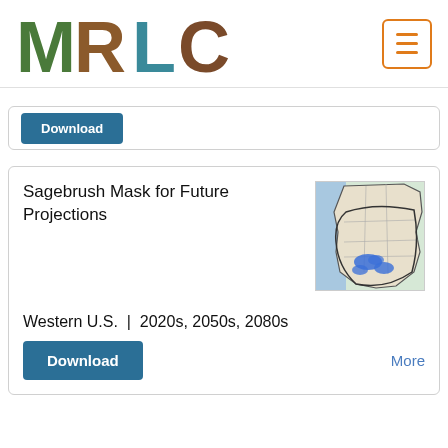MRLC
[Figure (map): Map of Western U.S. showing sagebrush distribution with blue highlighted areas]
Sagebrush Mask for Future Projections
Western U.S. | 2020s, 2050s, 2080s
Download
More